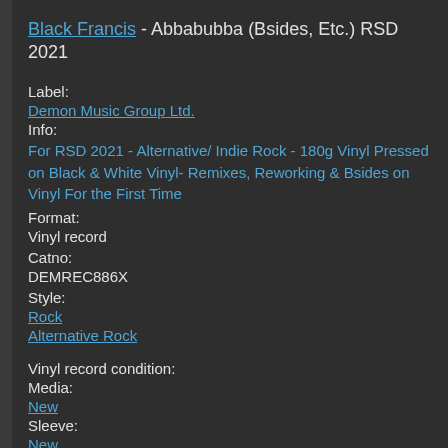Black Francis - Abbabubba (Bsides, Etc.) RSD 2021
Label:
Demon Music Group Ltd.
Info:
For RSD 2021 - Alternative/ Indie Rock - 180g Vinyl Pressed on Black & White Vinyl- Remixes, Reworking & Bsides on Vinyl For the First Time
Format:
Vinyl record
Catno:
DEMREC886X
Style:
Rock
Alternative Rock
Vinyl record condition:
Media:
New
Sleeve:
New
(quick info)
Price: